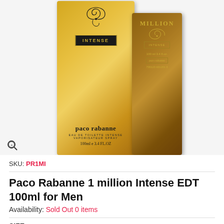[Figure (photo): Two Paco Rabanne 1 Million Intense EDT perfume boxes side by side, both in gold coloring. The front box shows 'INTENSE' label, 'paco rabanne' brand name, 'EAU DE TOILETTE INTENSE VAPORISATEUR SPRAY', '100ml e 3.4 FL.OZ'. The back/side box shows 'MILLION', 'INTENSE', '100 ml 3.4 fl.oz.', 'paco rabanne', '700123 631201 3'.]
SKU: PR1MI
Paco Rabanne 1 million Intense EDT 100ml for Men
Availability: Sold Out 0 items
SIZE: